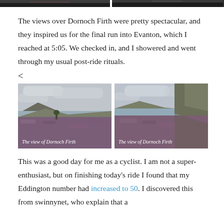[Figure (photo): Two cropped landscape photos at top of page showing dark scenery]
The views over Dornoch Firth were pretty spectacular, and they inspired us for the final run into Evanton, which I reached at 5:05. We checked in, and I showered and went through my usual post-ride rituals.
<
[Figure (photo): Left photo: landscape view of Dornoch Firth with heather moorland in foreground and water in distance under cloudy sky. Caption: 'The view of Dornoch Firth']
[Figure (photo): Right photo: landscape view of Dornoch Firth showing hillside with moorland and water visible. Caption: 'The view of Dornoch Firth']
This was a good day for me as a cyclist. I am not a super-enthusiast, but on finishing today’s ride I found that my Eddington number had increased to 50. I discovered this from swinnynet, who explain that a